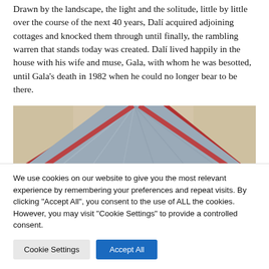Drawn by the landscape, the light and the solitude, little by little over the course of the next 40 years, Dalí acquired adjoining cottages and knocked them through until finally, the rambling warren that stands today was created. Dalí lived happily in the house with his wife and muse, Gala, with whom he was besotted, until Gala's death in 1982 when he could no longer bear to be there.
[Figure (photo): Interior photo showing draped fabric hanging from ceiling — grey and red fabric cascading downward against a beige wall, partially cropped at bottom]
We use cookies on our website to give you the most relevant experience by remembering your preferences and repeat visits. By clicking "Accept All", you consent to the use of ALL the cookies. However, you may visit "Cookie Settings" to provide a controlled consent.